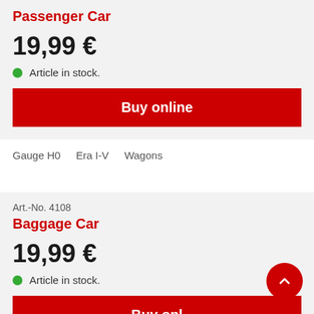Passenger Car
19,99 €
Article in stock.
Buy online
Gauge H0   Era I-V   Wagons
Art.-No. 4108
Baggage Car
19,99 €
Article in stock.
Buy online